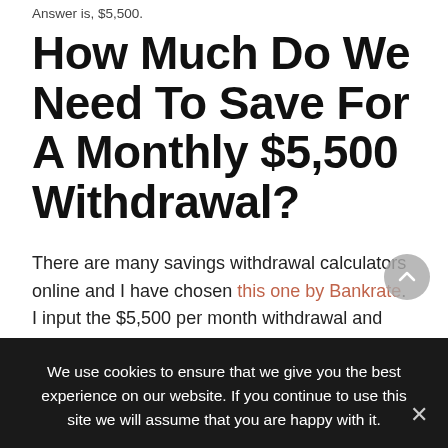Answer is, $5,500.
How Much Do We Need To Save For A Monthly $5,500 Withdrawal?
There are many savings withdrawal calculators online and I have chosen this one by Bankrate. I input the $5,500 per month withdrawal and worked backward
We use cookies to ensure that we give you the best experience on our website. If you continue to use this site we will assume that you are happy with it.